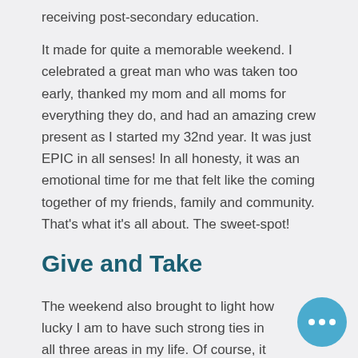receiving post-secondary education.
It made for quite a memorable weekend. I celebrated a great man who was taken too early, thanked my mom and all moms for everything they do, and had an amazing crew present as I started my 32nd year. It was just EPIC in all senses! In all honesty, it was an emotional time for me that felt like the coming together of my friends, family and community. That's what it's all about. The sweet-spot!
Give and Take
The weekend also brought to light how lucky I am to have such strong ties in all three areas in my life. Of course, it takes commitment and effort